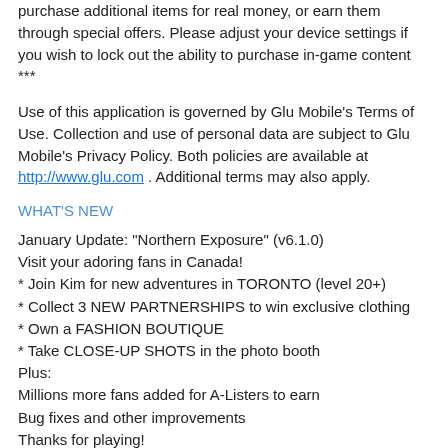purchase additional items for real money, or earn them through special offers. Please adjust your device settings if you wish to lock out the ability to purchase in-game content ***
Use of this application is governed by Glu Mobile's Terms of Use. Collection and use of personal data are subject to Glu Mobile's Privacy Policy. Both policies are available at http://www.glu.com . Additional terms may also apply.
WHAT'S NEW
January Update: "Northern Exposure" (v6.1.0)
Visit your adoring fans in Canada!
* Join Kim for new adventures in TORONTO (level 20+)
* Collect 3 NEW PARTNERSHIPS to win exclusive clothing
* Own a FASHION BOUTIQUE
* Take CLOSE-UP SHOTS in the photo booth
Plus:
Millions more fans added for A-Listers to earn
Bug fixes and other improvements
Thanks for playing!